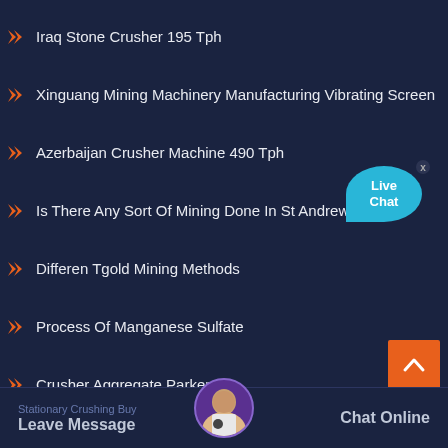Iraq Stone Crusher 195 Tph
Xinguang Mining Machinery Manufacturing Vibrating Screen
Azerbaijan Crusher Machine 490 Tph
Is There Any Sort Of Mining Done In St Andrew
Differen Tgold Mining Methods
Process Of Manganese Sulfate
Crusher Aggregate Parker
Avalon Mining Machine Guide To Manufacturing
Rampa En Espiral Mineral
Stationary Crushing Buy
[Figure (illustration): Live Chat bubble widget with cyan speech bubble]
[Figure (illustration): Back to top orange button with upward chevron arrow]
Leave Message   Chat Online